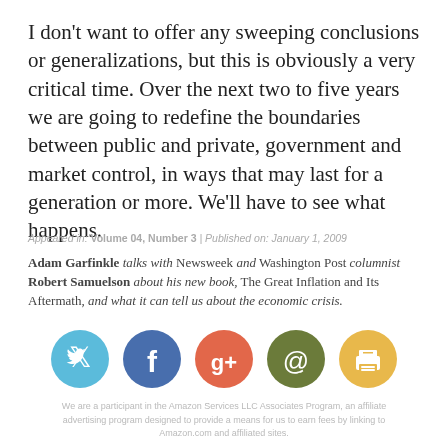I don’t want to offer any sweeping conclusions or generalizations, but this is obviously a very critical time. Over the next two to five years we are going to redefine the boundaries between public and private, government and market control, in ways that may last for a generation or more. We’ll have to see what happens.
Appeared in: Volume 04, Number 3 | Published on: January 1, 2009
Adam Garfinkle talks with Newsweek and Washington Post columnist Robert Samuelson about his new book, The Great Inflation and Its Aftermath, and what it can tell us about the economic crisis.
[Figure (infographic): Five social media/sharing icon circles: Twitter (light blue with bird icon), Facebook (dark blue with 'f'), Google+ (orange-red with 'g+'), Email (olive green with '@'), Print (golden yellow with printer icon)]
We are a participant in the Amazon Services LLC Associates Program, an affiliate advertising program designed to provide a means for us to earn fees by linking to Amazon.com and affiliated sites.